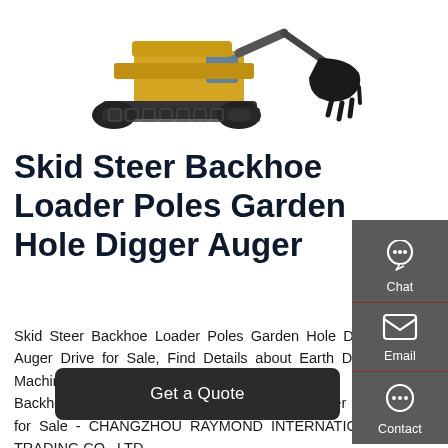[Figure (photo): Yellow and black excavator / backhoe loader with bucket attachment, shown against white background]
Skid Steer Backhoe Loader Poles Garden Hole Digger Auger
Skid Steer Backhoe Loader Poles Garden Hole Digger Auger Drive for Sale, Find Details about Earth Drilling Machine, Auger Drilling Machine from Skid Steer Backhoe Loader Poles Garden Hole Digger Auger Drive for Sale - CHANGZHOU RAYMOND INTERNATIONAL TRADING CO., LTD.
[Figure (infographic): Right sidebar with Chat, Email, and Contact icons on dark grey background]
Get a Quote